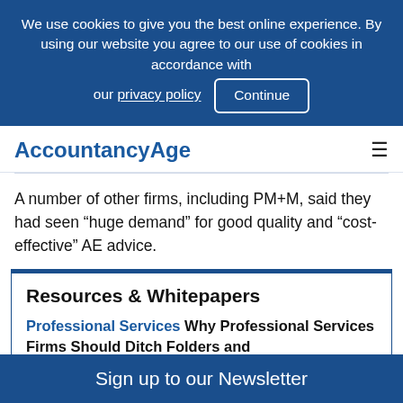We use cookies to give you the best online experience. By using our website you agree to our use of cookies in accordance with our privacy policy  Continue
AccountancyAge
A number of other firms, including PM+M, said they had seen “huge demand” for good quality and “cost-effective” AE advice.
Resources & Whitepapers
Professional Services Why Professional Services Firms Should Ditch Folders and Embrace Metadata
Sign up to our Newsletter